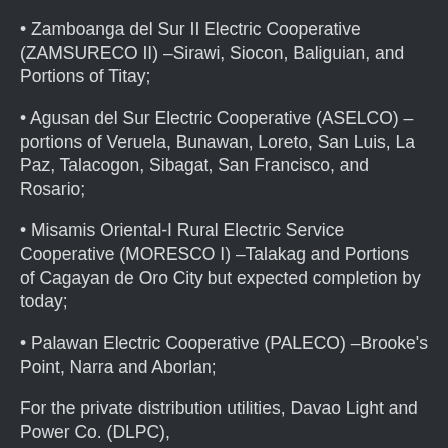• Zamboanga del Sur II Electric Cooperative (ZAMSURECO II) –Sirawi, Siocon, Baliguian, and Portions of Titay;
• Agusan del Sur Electric Cooperative (ASELCO) –portions of Veruela, Bunawan, Loreto, San Luis, La Paz, Talacogon, Sibagat, San Francisco, and Rosario;
• Misamis Oriental-I Rural Electric Service Cooperative (MORESCO I) –Talakag and Portions of Cagayan de Oro City but expected completion by today;
• Palawan Electric Cooperative (PALECO) –Brooke's Point, Narra and Aborlan;
For the private distribution utilities, Davao Light and Power Co. (DLPC),
Cagayan Electric Power & Light Co., Inc. (CEPALCO) and Iligan Light and Power, Inc., their engineers reported that some households are still without power due to the dampened outlets and wiring caused by the rain and the